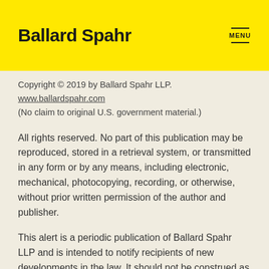Ballard Spahr | MENU
Copyright © 2019 by Ballard Spahr LLP.
www.ballardspahr.com
(No claim to original U.S. government material.)
All rights reserved. No part of this publication may be reproduced, stored in a retrieval system, or transmitted in any form or by any means, including electronic, mechanical, photocopying, recording, or otherwise, without prior written permission of the author and publisher.
This alert is a periodic publication of Ballard Spahr LLP and is intended to notify recipients of new developments in the law. It should not be construed as legal advice or legal opinion on any